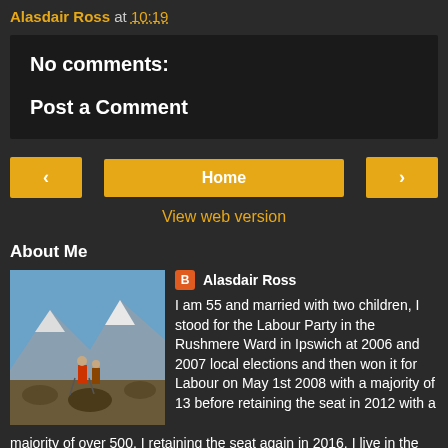Alasdair Ross at 10:19
No comments:
Post a Comment
[Figure (other): Navigation buttons: left arrow, Home, right arrow]
View web version
About Me
[Figure (photo): Photo of Alasdair Ross hiking in mountains, wearing red jacket, with mountainous landscape in background]
Alasdair Ross
I am 55 and married with two children, I stood for the Labour Party in the Rushmere Ward in Ipswich at 2006 and 2007 local elections and then won it for Labour on May 1st 2008 with a majority of 13 before retaining the seat in 2012 with a majority of over 500. I retaining the seat again in 2016. I live in the ward and I was born in Ipswich and both my parents (Annie and Peter Ross) were Labour councillors in Ipswich. I went to Tower Ramparts School in the town (Yes, it was a school before it became a shopping centre!) In 1978, I left Ipswich to join the army. I spent 24 years in the Royal Green Jackets,